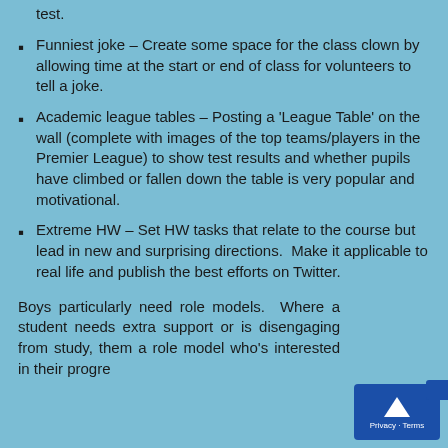test.
Funniest joke – Create some space for the class clown by allowing time at the start or end of class for volunteers to tell a joke.
Academic league tables – Posting a 'League Table' on the wall (complete with images of the top teams/players in the Premier League) to show test results and whether pupils have climbed or fallen down the table is very popular and motivational.
Extreme HW – Set HW tasks that relate to the course but lead in new and surprising directions.  Make it applicable to real life and publish the best efforts on Twitter.
Boys particularly need role models.  Where a student needs extra support or is disengaging from study, them a role model who's interested in their progre... be... This element might be used to to...